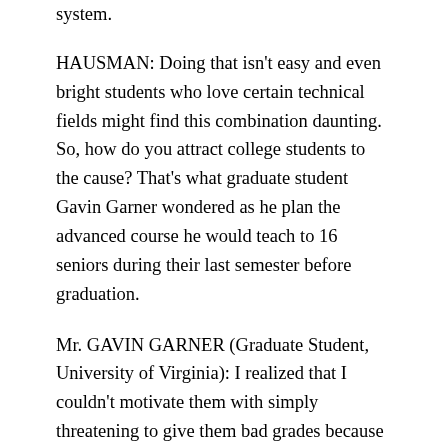system.
HAUSMAN: Doing that isn't easy and even bright students who love certain technical fields might find this combination daunting. So, how do you attract college students to the cause? That's what graduate student Gavin Garner wondered as he plan the advanced course he would teach to 16 seniors during their last semester before graduation.
Mr. GAVIN GARNER (Graduate Student, University of Virginia): I realized that I couldn't motivate them with simply threatening to give them bad grades because they all had high-paying jobs lined up or had gotten to higher graduate schools.
HAUSMAN: Garner knew many of the guys played "Guitar Hero," a video game that allowed them to become virtual